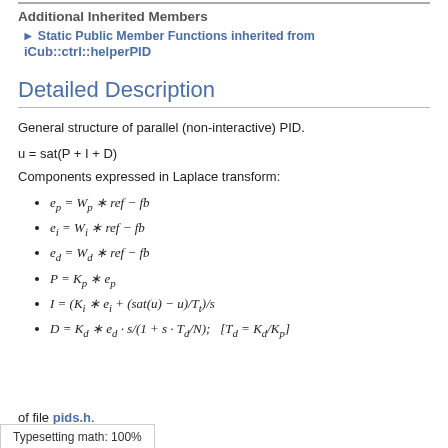Additional Inherited Members
▶ Static Public Member Functions inherited from iCub::ctrl::helperPID
Detailed Description
General structure of parallel (non-interactive) PID.
u = sat(P + I + D)
Components expressed in Laplace transform:
e_p = W_p * ref − fb
e_i = W_i * ref − fb
e_d = W_d * ref − fb
P = K_p * e_p
I = (K_i * e_i + (sat(u) − u)/T_t)/s
D = K_d * e_d · s/(1 + s · T_d/N);   [T_d = K_d/K_p]
Definition at line ??? of file pids.h.
Typesetting math: 100%